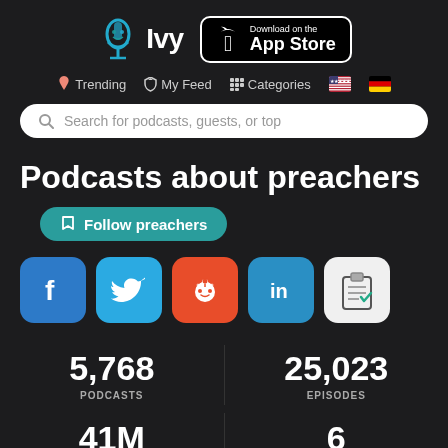[Figure (logo): Ivy podcast app logo with mic icon and text 'Ivy']
[Figure (logo): Download on the App Store button]
Trending  My Feed  Categories
[Figure (screenshot): Search bar: Search for podcasts, guests, or top]
Podcasts about preachers
Follow preachers
[Figure (infographic): Social share buttons: Facebook, Twitter, Reddit, LinkedIn, Clipboard]
5,768 PODCASTS
25,023 EPISODES
41M
6